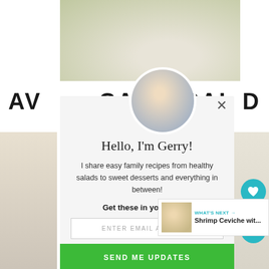[Figure (photo): Top food photo showing a salad dish from above, partial view]
AVOCADO PASTA SALAD
[Figure (photo): Circular avatar photo of Gerry, a man in an apron leaning on a kitchen counter]
Hello, I'm Gerry!
I share easy family recipes from healthy salads to sweet desserts and everything in between!
Get these in your inbox.
ENTER EMAIL ADDRESS
SEND ME UPDATES
219
WHAT'S NEXT → Shrimp Ceviche wit...